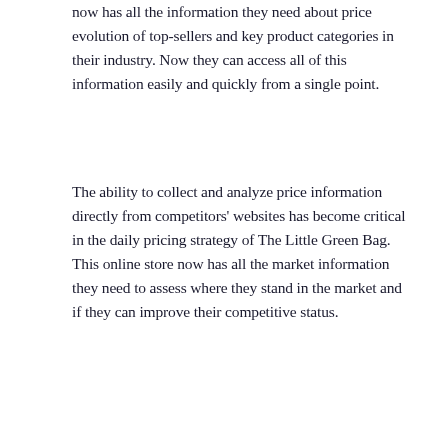now has all the information they need about price evolution of top-sellers and key product categories in their industry. Now they can access all of this information easily and quickly from a single point.
The ability to collect and analyze price information directly from competitors' websites has become critical in the daily pricing strategy of The Little Green Bag. This online store now has all the market information they need to assess where they stand in the market and if they can improve their competitive status.